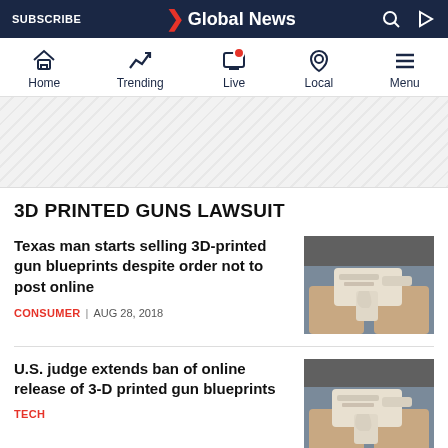SUBSCRIBE | Global News
[Figure (screenshot): Navigation bar with Home, Trending, Live, Local, Menu icons]
[Figure (other): Ad banner with diagonal stripe pattern]
3D PRINTED GUNS LAWSUIT
Texas man starts selling 3D-printed gun blueprints despite order not to post online
CONSUMER | AUG 28, 2018
[Figure (photo): Hands holding a white 3D-printed gun]
U.S. judge extends ban of online release of 3-D printed gun blueprints
[Figure (photo): Hands holding a white 3D-printed gun]